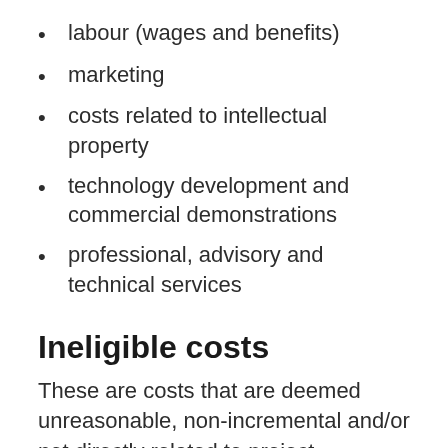labour (wages and benefits)
marketing
costs related to intellectual property
technology development and commercial demonstrations
professional, advisory and technical services
Ineligible costs
These are costs that are deemed unreasonable, non-incremental and/or not directly related to project activities. For example: